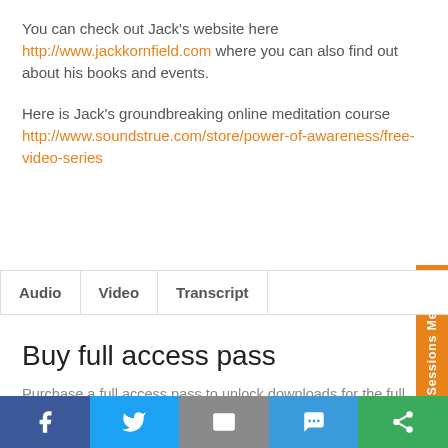You can check out Jack's website here http://www.jackkornfield.com where you can also find out about his books and events.
Here is Jack's groundbreaking online meditation course http://www.soundstrue.com/store/power-of-awareness/free-video-series
| Audio | Video | Transcript |
| --- | --- | --- |
Buy full access pass
Purchase a full access pass to unlock downloads for the full interview transcripts, audio, video and separate audio